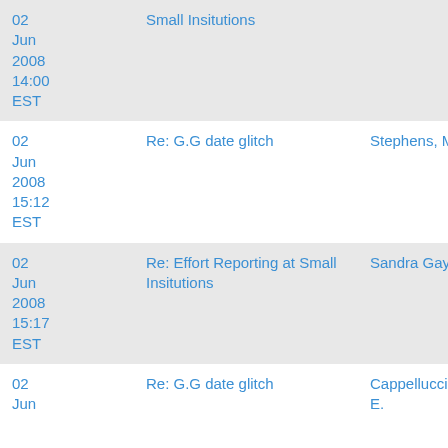| Date | Subject | Sender |
| --- | --- | --- |
| 02 Jun 2008 14:00 EST | Small Insitutions |  |
| 02 Jun 2008 15:12 EST | Re: G.G date glitch | Stephens, Martha F. |
| 02 Jun 2008 15:17 EST | Re: Effort Reporting at Small Insitutions | Sandra Gayk |
| 02 Jun 2008 | Re: G.G date glitch | Cappellucci, James E. |